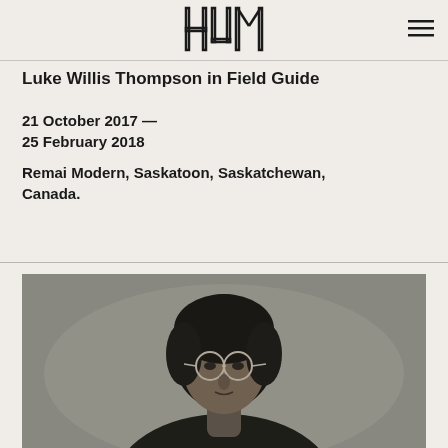HUM
Luke Willis Thompson in Field Guide
21 October 2017 — 25 February 2018
Remai Modern, Saskatoon, Saskatchewan, Canada.
[Figure (photo): Black and white portrait photograph of a person with curly hair and round glasses, shown from shoulders up, looking slightly to the side.]